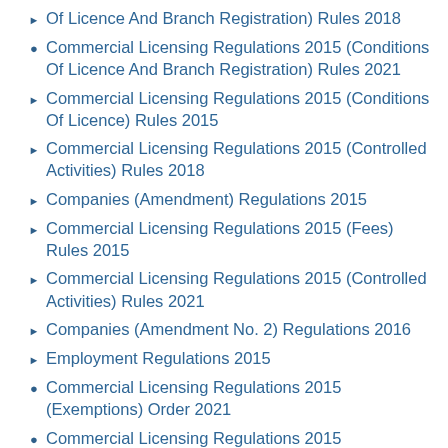Of Licence And Branch Registration) Rules 2018
Commercial Licensing Regulations 2015 (Conditions Of Licence And Branch Registration) Rules 2021
Commercial Licensing Regulations 2015 (Conditions Of Licence) Rules 2015
Commercial Licensing Regulations 2015 (Controlled Activities) Rules 2018
Companies (Amendment) Regulations 2015
Commercial Licensing Regulations 2015 (Fees) Rules 2015
Commercial Licensing Regulations 2015 (Controlled Activities) Rules 2021
Companies (Amendment No. 2) Regulations 2016
Employment Regulations 2015
Commercial Licensing Regulations 2015 (Exemptions) Order 2021
Commercial Licensing Regulations 2015 (Exemptions) Order 2022
Companies Regulations (Fees) Rules 2020